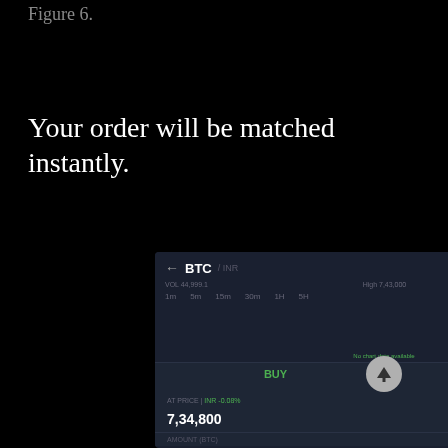Figure 6.
Your order will be matched instantly.
[Figure (screenshot): Mobile app screenshot showing BTC/INR trading interface with price ₹7,34,800, +1.40% badge, chart area, BUY/SELL tabs, AT PRICE field showing 7,34,800 with minus and plus buttons, and AMOUNT field.]